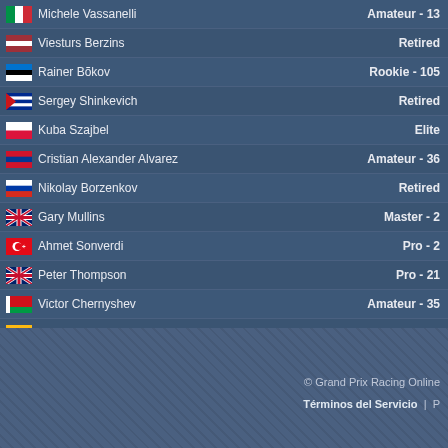| Player | Status |
| --- | --- |
| Michele Vassanelli | Amateur - 13 |
| Viesturs Berzins | Retired |
| Rainer Bõkov | Rookie - 105 |
| Sergey Shinkevich | Retired |
| Kuba Szajbel | Elite |
| Cristian Alexander Alvarez | Amateur - 36 |
| Nikolay Borzenkov | Retired |
| Gary Mullins | Master - 2 |
| Ahmet Sonverdi | Pro - 2 |
| Peter Thompson | Pro - 21 |
| Victor Chernyshev | Amateur - 35 |
| Saulius Jackevicius | Amateur - 10 |
| Sharma Vivek | Pro - 18 |
| József Szabó | Pro - 16 |
| Kevin Rasmus Ränk | Rookie - 1 |
| Vitali Guska | Retired |
Página [1] 2 3 »
© Grand Prix Racing Online
Términos del Servicio  |  P